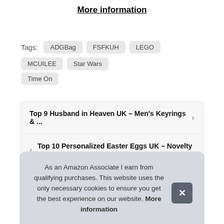More information
Tags: ADGBag  FSFKUH  LEGO  MCUILEE  Star Wars  Time On
Top 9 Husband in Heaven UK – Men's Keyrings & ...
Top 10 Personalized Easter Eggs UK – Novelty Cu...
As an Amazon Associate I earn from qualifying purchases. This website uses the only necessary cookies to ensure you get the best experience on our website. More information